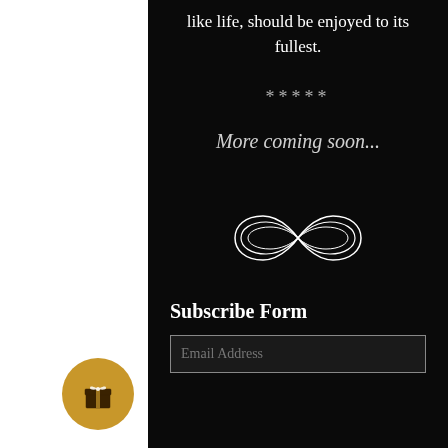like life, should be enjoyed to its fullest.
*****
More coming soon...
[Figure (illustration): Decorative infinity symbol ornament in white outline on black background]
Subscribe Form
Email Address